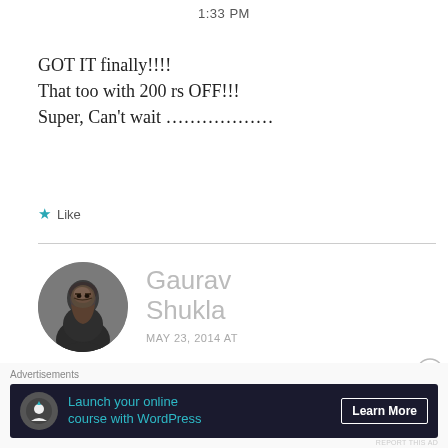1:33 PM
GOT IT finally!!!!
That too with 200 rs OFF!!!
Super, Can't wait ………………
★ Like
Gaurav Shukla
MAY 23, 2014 AT
5:10 PM
[Figure (photo): Circular profile photo of Gaurav Shukla, a man in a dark shirt against a gray background]
Advertisements
Launch your online course with WordPress  Learn More